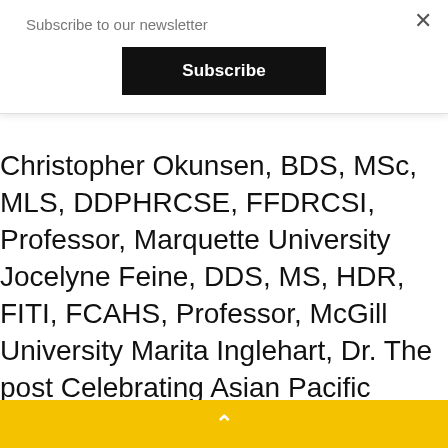Subscribe to our newsletter
Subscribe
Christopher Okunsen, BDS, MSc, MLS, DDPHRCSE, FFDRCSI, Professor, Marquette University Jocelyne Feine, DDS, MS, HDR, FITI, FCAHS, Professor, McGill University Marita Inglehart, Dr. The post Celebrating Asian Pacific AMERICAN Heritage Month is special to me. She previously held marketing and brand strategy positions at SmartBuilder and RB and has earned his Doctor of Dental Medicine.
These founding values are alive and well as NADG celebrates its pioneer spirit by solidifying its partnership